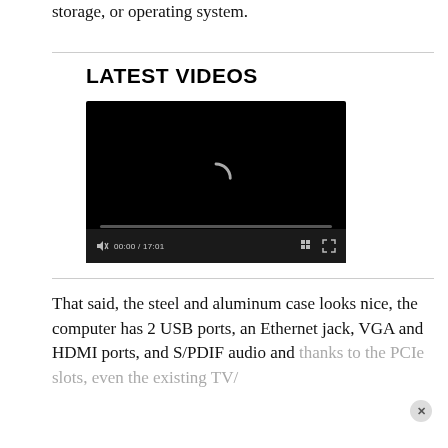storage, or operating system.
LATEST VIDEOS
[Figure (screenshot): A video player with a black background showing a loading spinner, a progress bar, and controls including mute icon, timestamp '00:00 / 17:01', grid/playlist icon, and fullscreen icon.]
That said, the steel and aluminum case looks nice, the computer has 2 USB ports, an Ethernet jack, VGA and HDMI ports, and S/PDIF audio and thanks to the PCIe slots, even the existing TV/